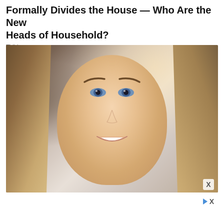Formally Divides the House — Who Are the New Heads of Household?
TVLine
[Figure (photo): Close-up portrait of a young blonde woman with blue eyes, wavy hair, and a smile, set against a blurred indoor background. Advertisement image.]
▷ X